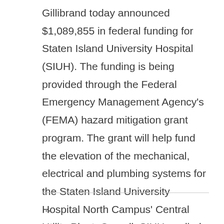Gillibrand today announced $1,089,855 in federal funding for Staten Island University Hospital (SIUH). The funding is being provided through the Federal Emergency Management Agency's (FEMA) hazard mitigation grant program. The grant will help fund the elevation of the mechanical, electrical and plumbing systems for the Staten Island University Hospital North Campus' Central Utility Plant. Overall, SIUH applied for $23 million in hazard mitigation ... Continue Reading